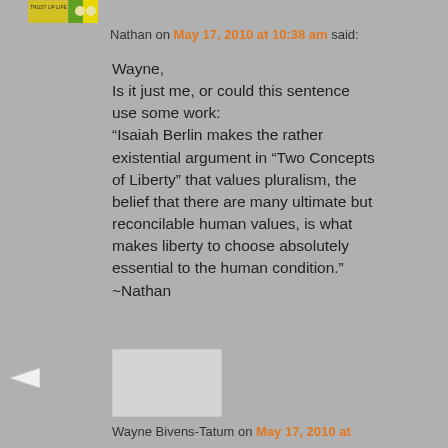[Figure (other): Small book cover thumbnail image with yellow/green colors]
Nathan on May 17, 2010 at 10:38 am said:
Wayne,
Is it just me, or could this sentence use some work:
“Isaiah Berlin makes the rather existential argument in “Two Concepts of Liberty” that values pluralism, the belief that there are many ultimate but reconcilable human values, is what makes liberty to choose absolutely essential to the human condition.”
~Nathan
[Figure (other): User avatar placeholder image (gray square)]
Wayne Bivens-Tatum on May 17, 2010 at